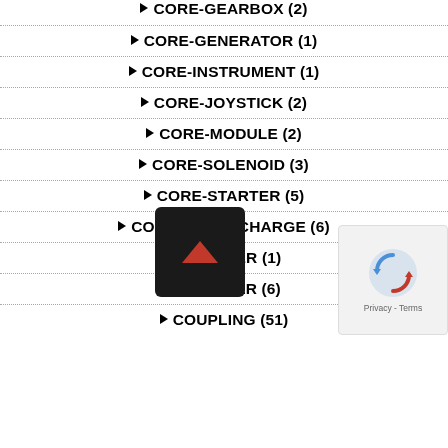▶ CORE-GEARBOX (2)
▶ CORE-GENERATOR (1)
▶ CORE-INSTRUMENT (1)
▶ CORE-JOYSTICK (2)
▶ CORE-MODULE (2)
▶ CORE-SOLENOID (3)
▶ CORE-STARTER (5)
▶ CORE-TURBOCHARGE (6)
▶ COUNTER (1)
▶ COUPLER (6)
▶ COUPLING (51)
[Figure (screenshot): Back/up navigation button (dark square with red chevron) and reCAPTCHA privacy widget overlay in bottom-right corner]